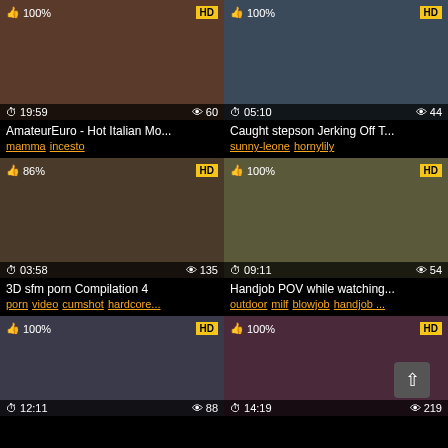[Figure (screenshot): Video thumbnail grid showing 6 adult video thumbnails with metadata]
AmateurEuro - Hot Italian Mo...
mamma incesto
Caught stepson Jerking Off T...
sunny-leone hornylily
3D sfm porn Compilation 4
porn video cumshot hardcore...
Handjob POV while watching...
outdoor milf blowjob handjob ...